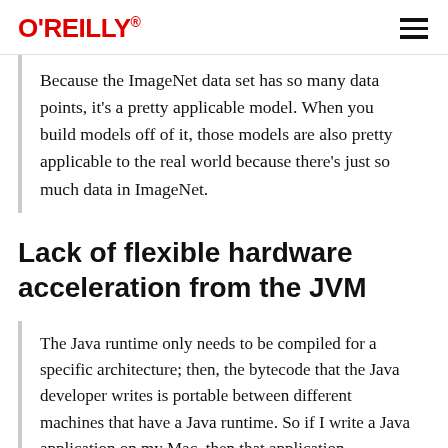O'REILLY
Because the ImageNet data set has so many data points, it's a pretty applicable model. When you build models off of it, those models are also pretty applicable to the real world because there's just so much data in ImageNet.
Lack of flexible hardware acceleration from the JVM
The Java runtime only needs to be compiled for a specific architecture; then, the bytecode that the Java developer writes is portable between different machines that have a Java runtime. So if I write a Java application on my Mac, then that application